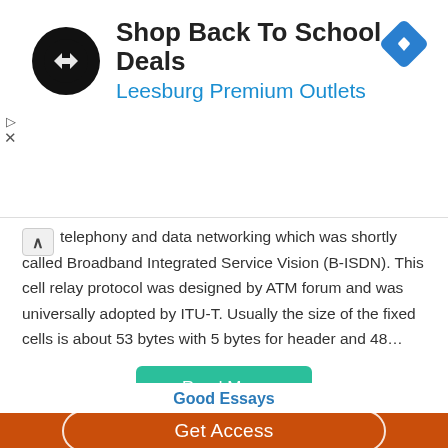[Figure (screenshot): Advertisement banner for Leesburg Premium Outlets with a black circular logo featuring double arrow, title 'Shop Back To School Deals', subtitle 'Leesburg Premium Outlets' in blue, and a blue diamond navigation icon on the right.]
telephony and data networking which was shortly called Broadband Integrated Service Vision (B-ISDN). This cell relay protocol was designed by ATM forum and was universally adopted by ITU-T. Usually the size of the fixed cells is about 53 bytes with 5 bytes for header and 48…
Read More
Good Essays
Get Access